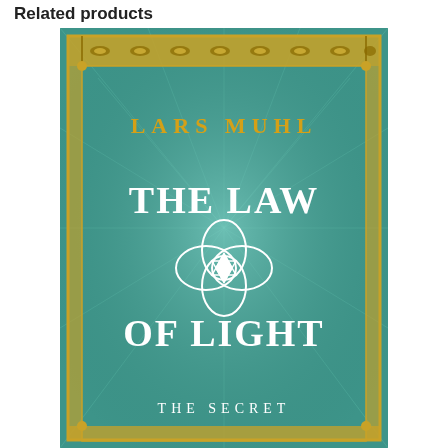Related products
[Figure (photo): Book cover for 'The Law of Light' by Lars Muhl. The cover features a teal/green textured background with golden ornamental border. The author name 'LARS MUHL' appears in gold lettering at the top. Below it, 'THE LAW' is written in large white serif text, followed by a white ornamental symbol (interlocking circles with a Star of David inside), then 'OF LIGHT' in large white serif text. At the bottom, 'THE SECRET' appears in smaller white text. The cover has a radiating light burst pattern visible in the background.]